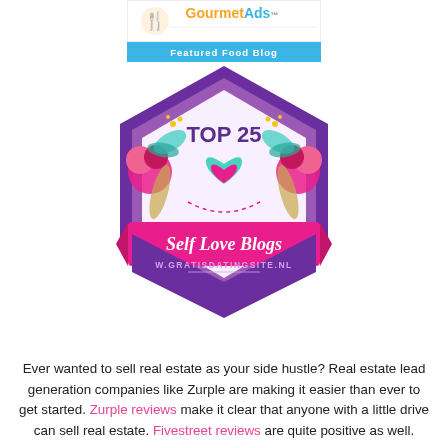[Figure (logo): GourmetAds Featured Food Blog banner with teal fork icon, orange and grey 'GourmetAds' text and teal 'Featured Food Blog' bar]
[Figure (illustration): Top 25 Self Love Blogs badge with purple hexagon shape, pink and teal heart, pink banner reading 'Self Love Blogs' in cursive script, floral decorations on sides, and 'W.GRATISDATINGSITE.NL' text at bottom]
Ever wanted to sell real estate as your side hustle? Real estate lead generation companies like Zurple are making it easier than ever to get started. Zurple reviews make it clear that anyone with a little drive can sell real estate. Fivestreet reviews are quite positive as well.